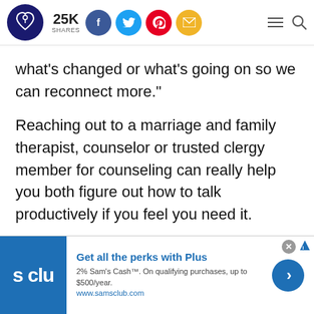25K SHARES — social share bar with Facebook, Twitter, Pinterest, Email icons, hamburger menu, search
what's changed or what's going on so we can reconnect more."
Reaching out to a marriage and family therapist, counselor or trusted clergy member for counseling can really help you both figure out how to talk productively if you feel you need it.
[Figure (screenshot): Sam's Club advertisement banner: 'Get all the perks with Plus. 2% Sam's Cash™. On qualifying purchases, up to $500/year. www.samsclub.com']